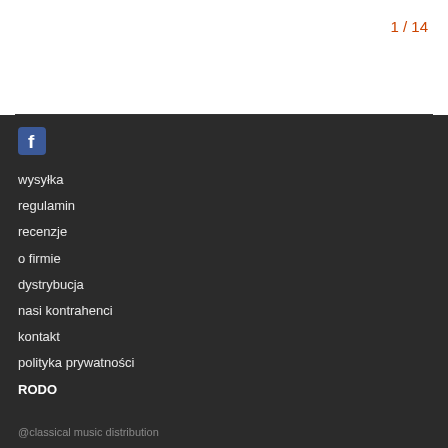1 / 14
[Figure (logo): Facebook icon/logo square, blue background with white 'f']
wysyłka
regulamin
recenzje
o firmie
dystrybucja
nasi kontrahenci
kontakt
polityka prywatności
RODO
@classical music distribution